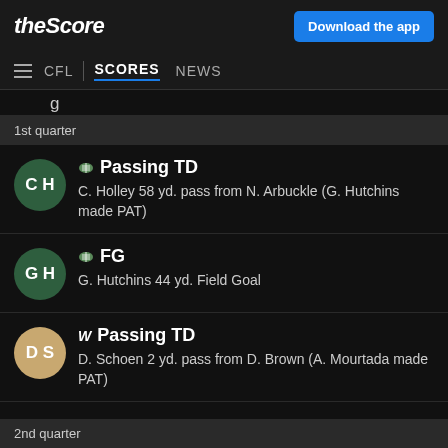theScore | Download the app
CFL | SCORES NEWS
1st quarter
Passing TD — C. Holley 58 yd. pass from N. Arbuckle (G. Hutchins made PAT)
FG — G. Hutchins 44 yd. Field Goal
Passing TD — D. Schoen 2 yd. pass from D. Brown (A. Mourtada made PAT)
2nd quarter